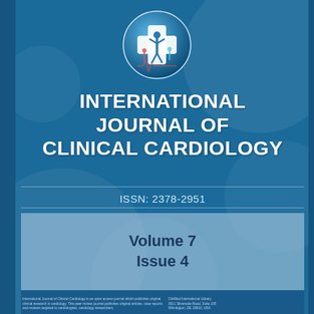[Figure (logo): Circular logo with medical cross and human figure silhouette on blue/teal globe background]
INTERNATIONAL JOURNAL OF CLINICAL CARDIOLOGY
ISSN: 2378-2951
Volume 7
Issue 4
International Journal of Clinical Cardiology is an open access journal which publishes original clinical research in cardiology. This peer review journal publishes original articles, case reports and reviews targeted to cardiologists, cardiology researchers.
ClinMed International Library
3011 Silverside Road, Suite 105
Wilmington, DE 19810, USA